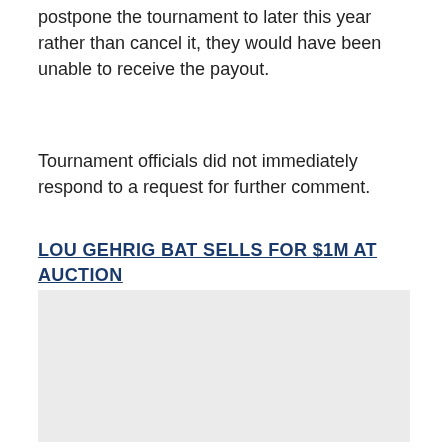postpone the tournament to later this year rather than cancel it, they would have been unable to receive the payout.
Tournament officials did not immediately respond to a request for further comment.
LOU GEHRIG BAT SELLS FOR $1M AT AUCTION
[Figure (other): Gray placeholder image box]
The insurance policy should allow Wimbledon's governing body to weather any short-term financial difficulties. The 2020 Wimbledon tournament was expected to generate more than $300 million in revenue, according to The Guardian